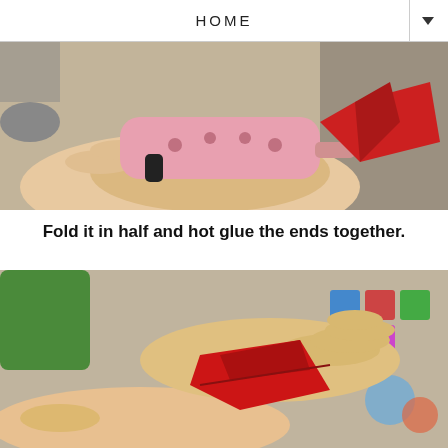HOME
[Figure (photo): Close-up photo of a hand holding a pink hot glue gun applying glue to a red fabric piece, with colorful objects in the background on a carpeted floor.]
Fold it in half and hot glue the ends together.
[Figure (photo): Close-up photo of two hands folding a red fabric piece in half, with colorful toy blocks and a green object visible in the blurred background on a carpeted floor.]